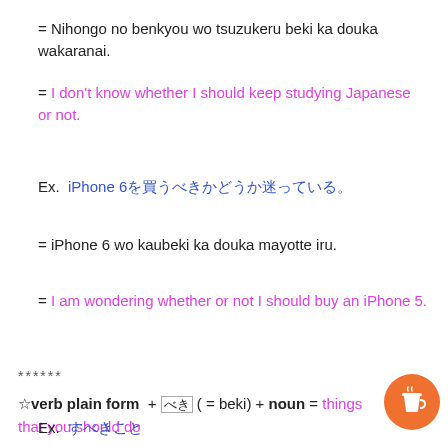= Nihongo no benkyou wo tsuzukeru beki ka douka wakaranai.
= I don't know whether I should keep studying Japanese or not.
Ex. iPhone 6を買うべきかどうか迷っている。
= iPhone 6 wo kaubeki ka douka mayotte iru.
= I am wondering whether or not I should buy an iPhone 5.
******
☆verb plain form + べき ( = beki) + noun = things that you should do
Ex. すべきこと